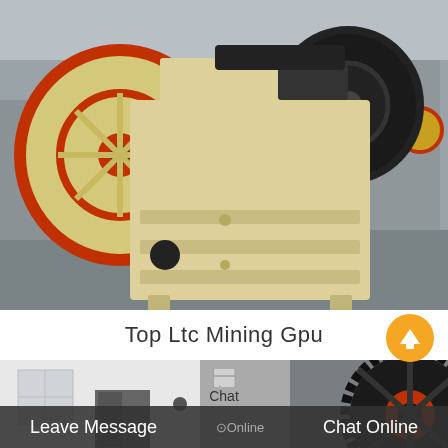[Figure (photo): Industrial jaw crusher machine with large red and black flywheels on both sides, cream/yellow painted heavy steel body, sitting on a concrete factory floor. Background shows additional industrial equipment.]
Top Ltc Mining Gpu
[Figure (photo): Partial view of industrial crushing machinery showing a large black and red gear/flywheel on the right side and a white industrial building facade on the left. A chat icon is overlaid in the center.]
Chat
Leave Message
Online
Chat Online